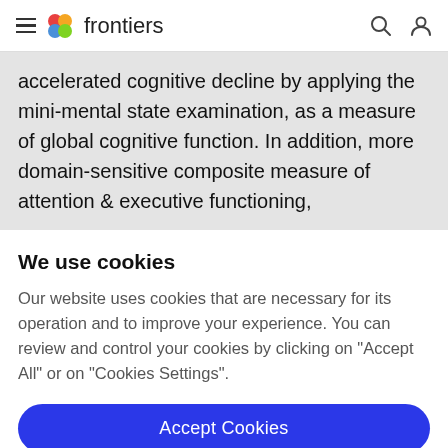frontiers
accelerated cognitive decline by applying the mini-mental state examination, as a measure of global cognitive function. In addition, more domain-sensitive composite measure of attention & executive functioning,
We use cookies
Our website uses cookies that are necessary for its operation and to improve your experience. You can review and control your cookies by clicking on "Accept All" or on "Cookies Settings".
Accept Cookies
Cookies Settings